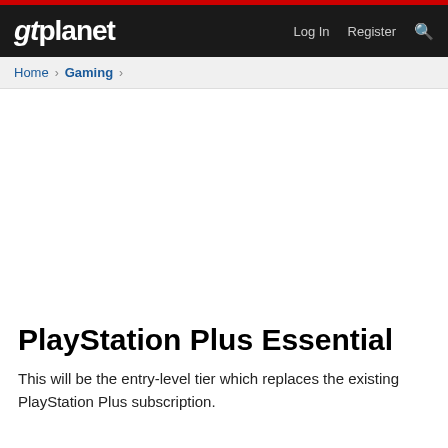gtplanet | Log In  Register
Home > Gaming >
PlayStation Plus Essential
This will be the entry-level tier which replaces the existing PlayStation Plus subscription.